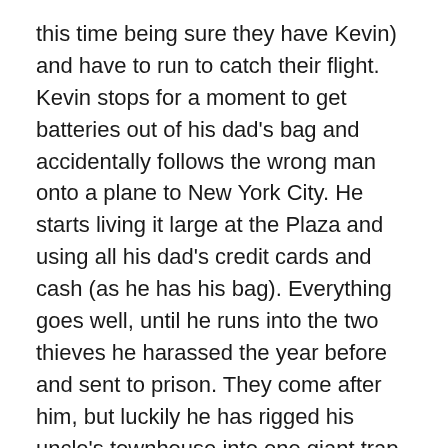this time being sure they have Kevin) and have to run to catch their flight. Kevin stops for a moment to get batteries out of his dad's bag and accidentally follows the wrong man onto a plane to New York City. He starts living it large at the Plaza and using all his dad's credit cards and cash (as he has his bag). Everything goes well, until he runs into the two thieves he harassed the year before and sent to prison. They come after him, but luckily he has rigged his uncle's townhouse into one giant trap.
Why it's Great: I have to say how he gets alone again was done really clever. The scenes of him just spending the dough and buying pizza, ice-cream, going on huge toy shopping trips, etc is fantastic. That was all the things that kids wished they could be able to do. Tim Curry plays the hotel manager who notices the lack of an adult and is